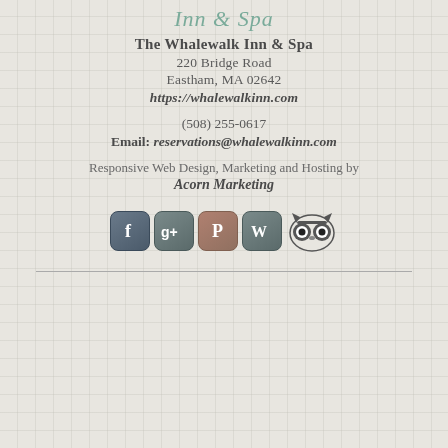Inn & Spa
The Whalewalk Inn & Spa
220 Bridge Road
Eastham, MA 02642
https://whalewalkinn.com
(508) 255-0617
Email: reservations@whalewalkinn.com
Responsive Web Design, Marketing and Hosting by
Acorn Marketing
[Figure (logo): Social media icons: Facebook, Google+, Pinterest, WordPress, TripAdvisor]